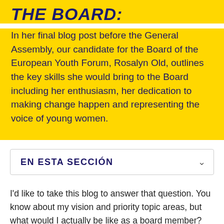THE BOARD:
In her final blog post before the General Assembly, our candidate for the Board of the European Youth Forum, Rosalyn Old, outlines the key skills she would bring to the Board including her enthusiasm, her dedication to making change happen and representing the voice of young women.
EN ESTA SECCIÓN
I'd like to take this blog to answer that question. You know about my vision and priority topic areas, but what would I actually be like as a board member?